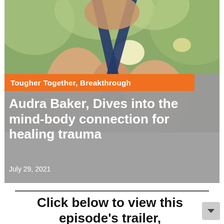[Figure (photo): Photo of a woman with dark hair wearing a navy halter top and white garment, photographed outdoors with green bokeh background]
Tougher Together, Breakthrough
Audra Baker, Dives into the mind-body connection for healing trauma
July 29, 2021
Click below to view this episode's trailer,